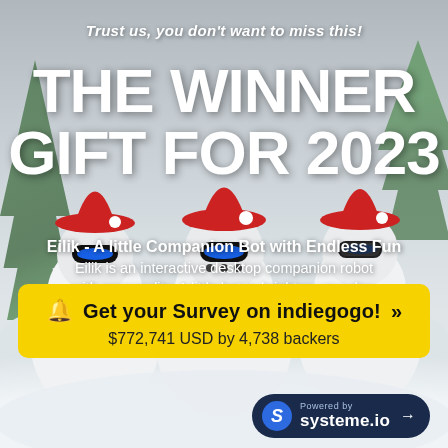[Figure (photo): Three white robot toys (Eilik) wearing red Santa hats and scarves, posed in a snowy winter scene with green trees in the background.]
Trust us, you don't want to miss this!
THE WINNER GIFT FOR 2023
Eilik - A little Companion Bot with Endless Fun
Eilik is an interactive desktop companion robot with personality. A little bot to brighten your day.
Get your Survey on indiegogo! »
$772,741 USD by 4,738 backers
Powered by
systeme.io →